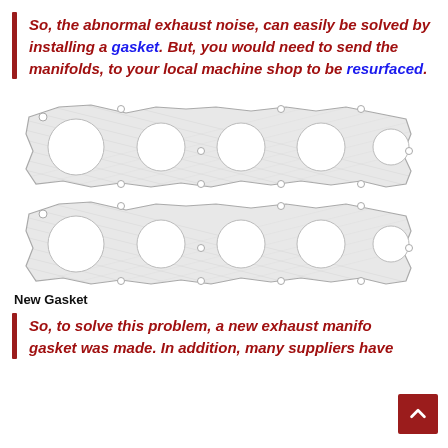So, the abnormal exhaust noise, can easily be solved by installing a gasket. But, you would need to send the manifolds, to your local machine shop to be resurfaced.
[Figure (photo): Two exhaust manifold gaskets shown side by side, made of woven/mesh metallic material with multiple circular port holes and mounting bolt holes.]
New Gasket
So, to solve this problem, a new exhaust manifold gasket was made. In addition, many suppliers have